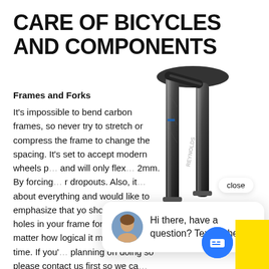CARE OF BICYCLES AND COMPONENTS
Frames and Forks
It's impossible to bend carbon frames, so never try to stretch or compress the frame to change the spacing. It's set to accept modern wheels p... and will only flex... 2mm. By forcing... r dropouts. Also, it... about everything and would like to emphasize that you should never drill holes in your frame for any reason no matter how logical it may seem at the time. If you're planning on doing so please contact us first so we can... and explain.
[Figure (photo): Close-up photo of a black carbon bicycle fork with Reynold branding, showing the fork legs and crown]
close
Hi there, have a question? Text us here.